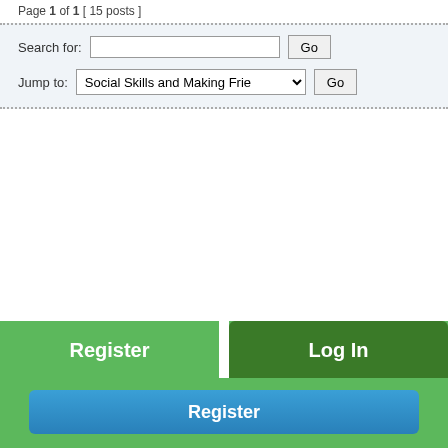Page 1 of 1 [ 15 posts ]
Search for: [input] Go
Jump to: Social Skills and Making Frie... Go
Register
Log In
Register